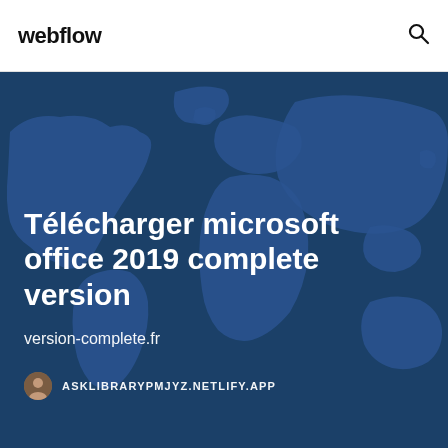webflow
[Figure (illustration): Dark blue world map background used as hero image for a webpage]
Télécharger microsoft office 2019 complete version
version-complete.fr
ASKLIBRARYPMJYZ.NETLIFY.APP